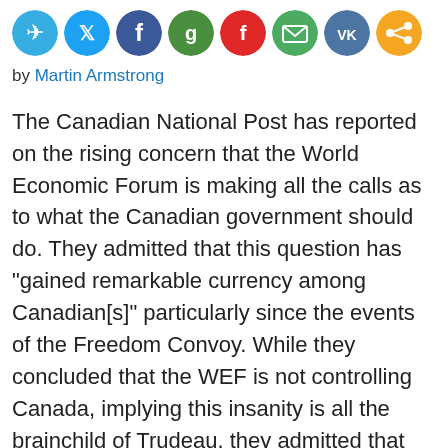[Figure (other): Row of social sharing icons: Telegram (blue), Twitter (blue), Facebook (blue), Google (green), Flipboard (red), Email (green), VK (blue), Share (orange)]
by Martin Armstrong
The Canadian National Post has reported on the rising concern that the World Economic Forum is making all the calls as to what the Canadian government should do. They admitted that this question has “gained remarkable currency among Canadian[s]” particularly since the events of the Freedom Convoy. While they concluded that the WEF is not controlling Canada, implying this insanity is all the brainchild of Trudeau, they admitted that “it’s not entirely crazy to jump to the conclusion that an